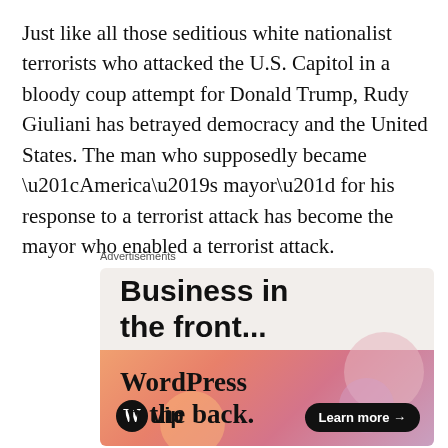Just like all those seditious white nationalist terrorists who attacked the U.S. Capitol in a bloody coup attempt for Donald Trump, Rudy Giuliani has betrayed democracy and the United States. The man who supposedly became “America’s mayor” for his response to a terrorist attack has become the mayor who enabled a terrorist attack.
Advertisements
[Figure (other): Advertisement for WordPress VIP. Top section on light beige background reads 'Business in the front...' in bold sans-serif. Bottom section on orange-pink gradient background reads 'WordPress in the back.' with WordPress VIP logo and a 'Learn more →' button.]